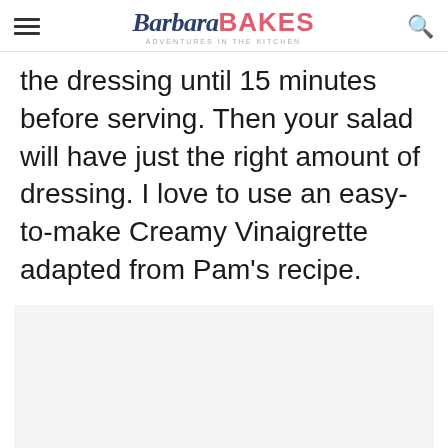Barbara BAKES — ADVENTURES in the KITCHEN
the dressing until 15 minutes before serving. Then your salad will have just the right amount of dressing. I love to use an easy-to-make Creamy Vinaigrette adapted from Pam's recipe.
[Figure (photo): Light gray placeholder image area at bottom of page]